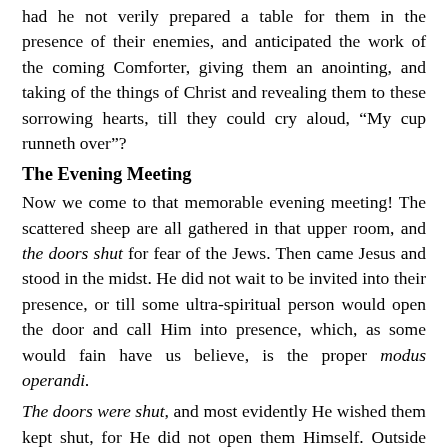had he not verily prepared a table for them in the presence of their enemies, and anticipated the work of the coming Comforter, giving them an anointing, and taking of the things of Christ and revealing them to these sorrowing hearts, till they could cry aloud, “My cup runneth over”?
The Evening Meeting
Now we come to that memorable evening meeting! The scattered sheep are all gathered in that upper room, and the doors shut for fear of the Jews. Then came Jesus and stood in the midst. He did not wait to be invited into their presence, or till some ultra-spiritual person would open the door and call Him into presence, which, as some would fain have us believe, is the proper modus operandi.
The doors were shut, and most evidently He wished them kept shut, for He did not open them Himself. Outside those closed doors was the world